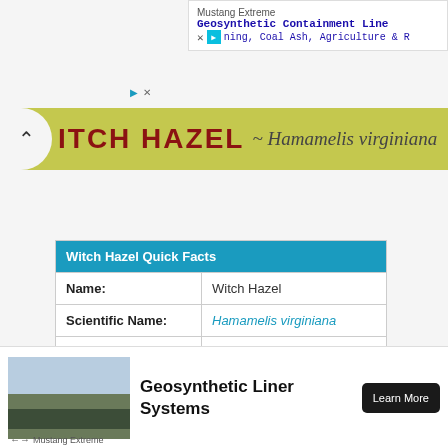[Figure (screenshot): Ad banner top right: Mustang Extreme Geosynthetic Containment Liner ad with text 'ning, Coal Ash, Agriculture & R']
[Figure (photo): Partial plant banner showing 'ITCH HAZEL ~ Hamamelis virginiana' in yellow-green background with red/dark text]
| Witch Hazel Quick Facts |  |
| --- | --- |
| Name: | Witch Hazel |
| Scientific Name: | Hamamelis virginiana |
| Origin | Eastern North America |
| Colors | Green when young turning to light brown |
[Figure (photo): Advertisement bottom: Geosynthetic Liner Systems ad by Mustang Extreme with landscape photo and Learn More button]